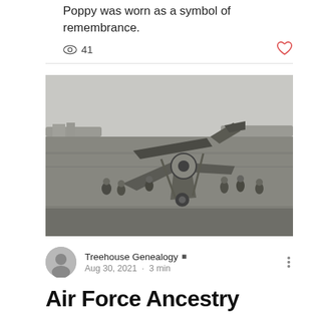Poppy was worn as a symbol of remembrance.
41
[Figure (photo): Black and white historical photograph of a biplane that has nosed over (tail up, nose down) on a grass field. Several soldiers or airmen stand around the crashed aircraft. Trees and buildings are visible in the background.]
Treehouse Genealogy ▪ Aug 30, 2021 · 3 min
Air Force Ancestry